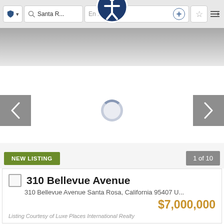[Figure (screenshot): Browser toolbar with shield icon, search bar showing 'Santa R...', URL bar showing 'En...a...', plus button, star button, and menu icon. Accessibility overlay icon centered at top.]
[Figure (photo): Partial property photo, mostly gray/white gradient, cropped at top.]
[Figure (screenshot): Image carousel area with left and right navigation arrows, and a loading spinner circle in the center.]
NEW LISTING
1 of 10
310 Bellevue Avenue
310 Bellevue Avenue Santa Rosa, California 95407 U...
$7,000,000
Listing Courtesy of Luxe Places International Realty